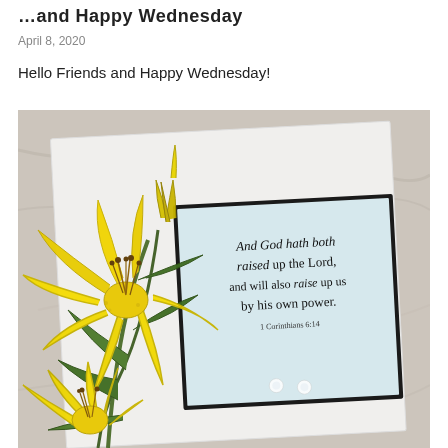...and Happy Wednesday
April 8, 2020
Hello Friends and Happy Wednesday!
[Figure (photo): A handmade greeting card resting on a marble surface. The card features yellow lily flowers arranged along the left side and bottom. On the light blue card panel, italic script text reads: 'And God hath both raised up the Lord, and will also raise up us by his own power. 1 Corinthians 6:14'. Two small clear rhinestone embellishments are visible on the lower right of the card.]